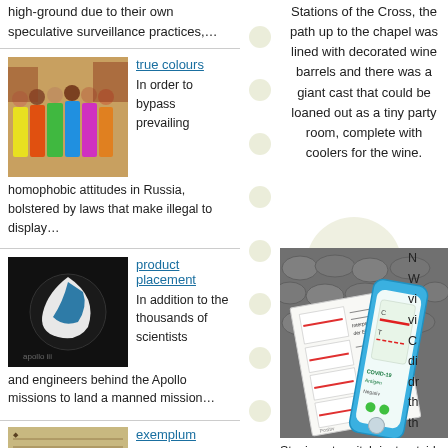high-ground due to their own speculative surveillance practices,…
[Figure (photo): Group of people wearing colorful shirts outdoors]
true colours
In order to bypass prevailing homophobic attitudes in Russia, bolstered by laws that make illegal to display…
[Figure (photo): Apollo mission logo - black background with white and blue swirl]
product placement
In addition to the thousands of scientists and engineers behind the Apollo missions to land a manned mission…
[Figure (photo): Old document or manuscript - exemplum]
exemplum
Stations of the Cross, the path up to the chapel was lined with decorated wine barrels and there was a giant cast that could be loaned out as a tiny party room, complete with coolers for the wine.
[Figure (photo): COVID-19 Antigen rapid test kit placed on cobblestones next to instruction booklet]
N… W… vi… vi… C… di… dr… th… th…
Staying at a pitch just outside of one of the …